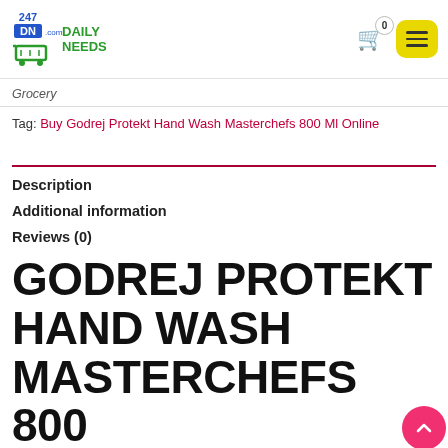247 DN Daily Needs — Logo and navigation header
Grocery
Tag: Buy Godrej Protekt Hand Wash Masterchefs 800 Ml Online
Description
Additional information
Reviews (0)
GODREJ PROTEKT HAND WASH MASTERCHEFS 800